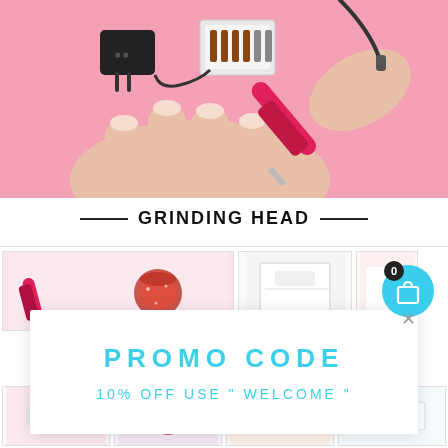[Figure (photo): Pink background product photo showing a red/pink electric nail drill device being used on a hand, with accessories including a charger/power adapter and a set of drill bits in a case arranged on the pink surface.]
GRINDING HEAD
[Figure (photo): Product thumbnail images showing nail drill tools and accessories in a grid layout, partially obscured by popup overlay.]
PROMO CODE
10% OFF USE " WELCOME "
[Figure (screenshot): Blue circular shopping cart button with a white bag icon and a black badge showing '0', floating in the upper right area.]